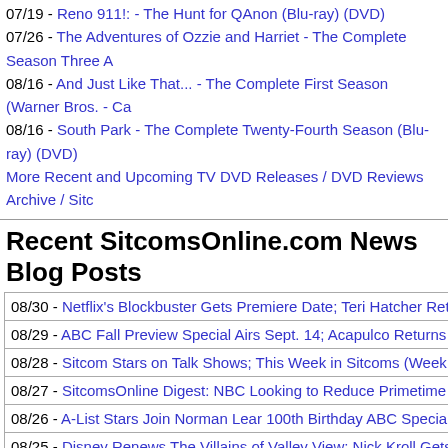07/19 - Reno 911!: - The Hunt for QAnon (Blu-ray) (DVD)
07/26 - The Adventures of Ozzie and Harriet - The Complete Season Three A…
08/16 - And Just Like That... - The Complete First Season (Warner Bros. - Ca…
08/16 - South Park - The Complete Twenty-Fourth Season (Blu-ray) (DVD)
More Recent and Upcoming TV DVD Releases / DVD Reviews Archive / Sitco…
Recent SitcomsOnline.com News Blog Posts
08/30 - Netflix's Blockbuster Gets Premiere Date; Teri Hatcher Returns to Ha…
08/29 - ABC Fall Preview Special Airs Sept. 14; Acapulco Returns in Octobe…
08/28 - Sitcom Stars on Talk Shows; This Week in Sitcoms (Week of August…
08/27 - SitcomsOnline Digest: NBC Looking to Reduce Primetime Hours; Co…
08/26 - A-List Stars Join Norman Lear 100th Birthday ABC Special; Joe Pes…
08/25 - Disney Renews The Villains of Valley View; Nick Kroll Gets Netflix Sp…
08/24 - Reelz Celebrates 50th Anniversary of M*A*S*H with New Special; Hi…
08/23 - NBC to Air Peacock Series as Promotional Airing; James Denton and…
08/22 - HBO Renews The Rehearsal for Season 2; Dan Levy Joins Sex Edu…
08/21 - Sitcom Stars on Talk Shows; This Week in Sitcoms (Week of August…
08/20 - SitcomsOnline Digest: Ally McBeal Sequel in the Works?; More Disc…